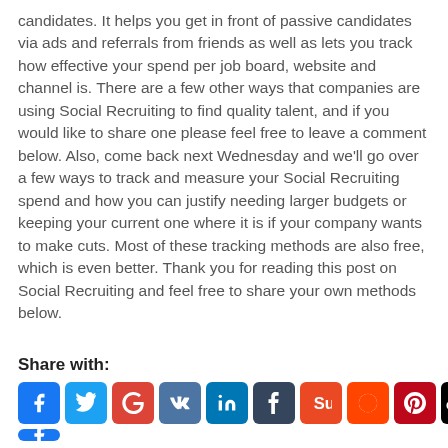candidates.  It helps you get in front of passive candidates via ads and referrals from friends as well as lets you track how effective your spend per job board, website and channel is.  There are a few other ways that companies are using Social Recruiting to find quality talent, and if you would like to share one please feel free to leave a comment below.  Also, come back next Wednesday and we'll go over a few ways to track and measure your Social Recruiting spend and how you can justify needing larger budgets or keeping your current one where it is if your company wants to make cuts.  Most of these tracking methods are also free, which is even better.  Thank you for reading this post on Social Recruiting and feel free to share your own methods below.
Share with:
[Figure (infographic): A row of social media share buttons: Facebook, Twitter, Google, VK, LinkedIn, Tumblr, StumbleUpon, Reddit, Pinterest, Digg, and a partial Facebook icon at the bottom.]